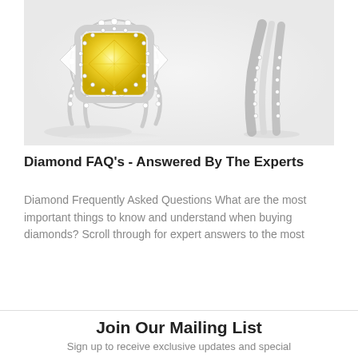[Figure (photo): Two diamond rings on a white/light gray reflective surface. On the left is a large yellow cushion-cut diamond ring with a double halo of small white diamonds and split shank. On the right is a white gold diamond ring with pavé band, partially cropped.]
Diamond FAQ's - Answered By The Experts
Diamond Frequently Asked Questions What are the most important things to know and understand when buying diamonds? Scroll through for expert answers to the most
Join Our Mailing List
Sign up to receive exclusive updates and special offers